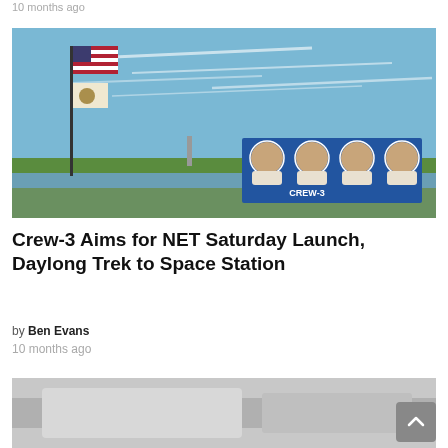10 months ago
[Figure (photo): Outdoor scene at a space center with flags on a flagpole, a body of water, and a billboard featuring portraits of four astronauts (Crew-3 mission) against a blue sky with light clouds.]
Crew-3 Aims for NET Saturday Launch, Daylong Trek to Space Station
by Ben Evans
10 months ago
[Figure (photo): Partially visible photo at the bottom of the page, showing what appears to be an aircraft or spacecraft component.]